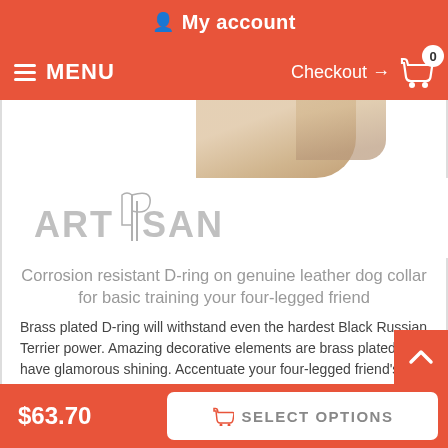My account
MENU  Checkout → 0
[Figure (photo): Partial view of a brown leather dog collar product image at the top, cut off at the bottom of the nav bar area]
[Figure (logo): Artisan brand logo in light gray text with a stylized flag/banner emblem]
Corrosion resistant D-ring on genuine leather dog collar for basic training your four-legged friend
Brass plated D-ring will withstand even the hardest Black Russian Terrier power. Amazing decorative elements are brass plated and have glamorous shining. Accentuate your four-legged friend's outlook, purchase this Artisan stunning leather acces
Click on the pictures to see bigger image
$63.70   SELECT OPTIONS